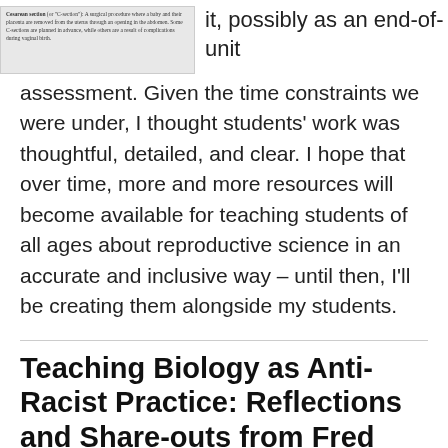[Figure (screenshot): Screenshot of a definition card for 'Cesarean section (or C-section)': A surgical procedure where a baby and their placenta are removed from the uterus through an opening in the abdomen. Some C-sections are planned in advance, while others are a result of complications during vaginal birth.]
it, possibly as an end-of-unit assessment. Given the time constraints we were under, I thought students' work was thoughtful, detailed, and clear. I hope that over time, more and more resources will become available for teaching students of all ages about reproductive science in an accurate and inclusive way – until then, I'll be creating them alongside my students.
Teaching Biology as Anti-Racist Practice: Reflections and Share-outs from Fred Hutch's Biology